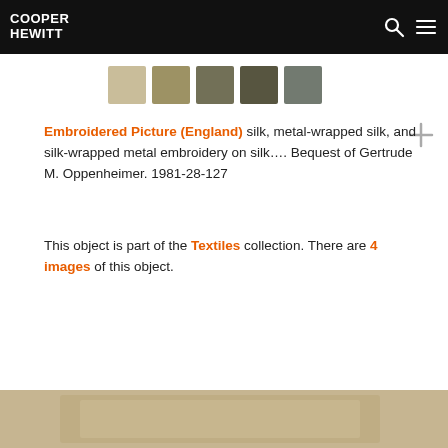COOPER HEWITT
[Figure (infographic): Five color swatches in muted tones: light tan, olive tan, olive green, dark olive, muted blue-gray]
Embroidered Picture (England) silk, metal-wrapped silk, and silk-wrapped metal embroidery on silk.... Bequest of Gertrude M. Oppenheimer. 1981-28-127
This object is part of the Textiles collection. There are 4 images of this object.
[Figure (photo): Partial view of embroidered picture artifact at bottom of page]